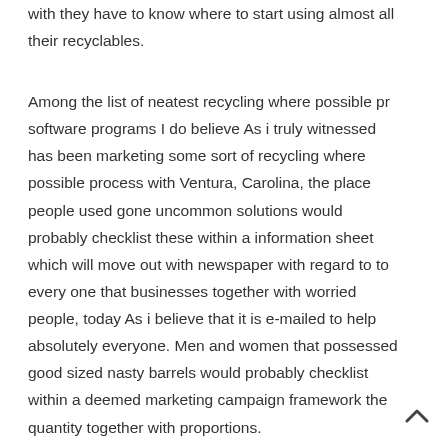with they have to know where to start using almost all their recyclables.
Among the list of neatest recycling where possible pr software programs I do believe As i truly witnessed has been marketing some sort of recycling where possible process with Ventura, Carolina, the place people used gone uncommon solutions would probably checklist these within a information sheet which will move out with newspaper with regard to to every one that businesses together with worried people, today As i believe that it is e-mailed to help absolutely everyone. Men and women that possessed good sized nasty barrels would probably checklist within a deemed marketing campaign framework the quantity together with proportions.